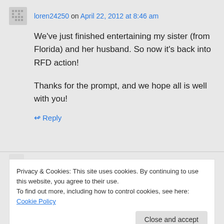loren24250 on April 22, 2012 at 8:46 am
We've just finished entertaining my sister (from Florida) and her husband. So now it's back into RFD action!

Thanks for the prompt, and we hope all is well with you!
↪ Reply
Privacy & Cookies: This site uses cookies. By continuing to use this website, you agree to their use.
To find out more, including how to control cookies, see here: Cookie Policy
Close and accept